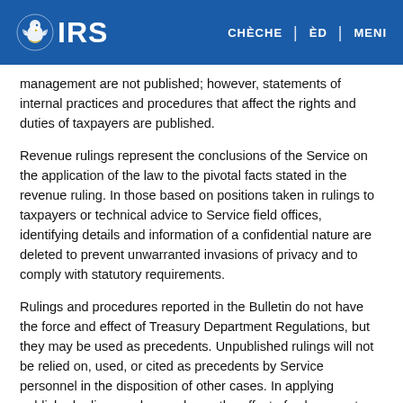IRS | CHÈCHE | ÈD | MENI
management are not published; however, statements of internal practices and procedures that affect the rights and duties of taxpayers are published.
Revenue rulings represent the conclusions of the Service on the application of the law to the pivotal facts stated in the revenue ruling. In those based on positions taken in rulings to taxpayers or technical advice to Service field offices, identifying details and information of a confidential nature are deleted to prevent unwarranted invasions of privacy and to comply with statutory requirements.
Rulings and procedures reported in the Bulletin do not have the force and effect of Treasury Department Regulations, but they may be used as precedents. Unpublished rulings will not be relied on, used, or cited as precedents by Service personnel in the disposition of other cases. In applying published rulings and procedures, the effect of subsequent legislation, regulations, court decisions, rulings, and procedures